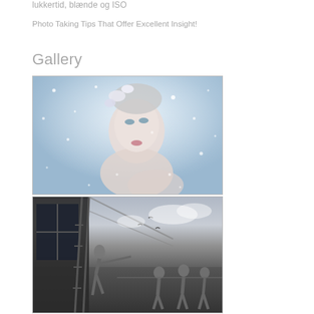lukkertid, blænde og ISO
Photo Taking Tips That Offer Excellent Insight!
Gallery
[Figure (photo): Fantasy winter portrait of a pale woman with white floral hair decorations against a snowy blue-grey background with bokeh snowflakes]
[Figure (photo): Black and white photo of children playing outdoors near a wooden barn/building with dramatic cloudy sky in the background]